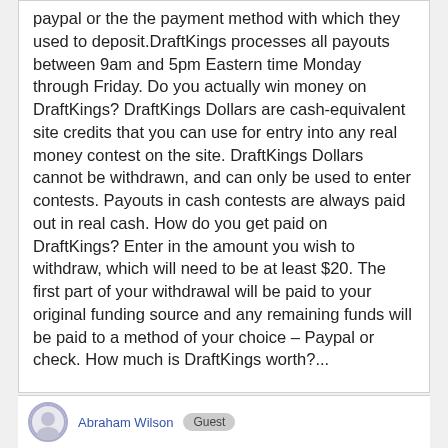paypal or the the payment method with which they used to deposit.DraftKings processes all payouts between 9am and 5pm Eastern time Monday through Friday. Do you actually win money on DraftKings? DraftKings Dollars are cash-equivalent site credits that you can use for entry into any real money contest on the site. DraftKings Dollars cannot be withdrawn, and can only be used to enter contests. Payouts in cash contests are always paid out in real cash. How do you get paid on DraftKings? Enter in the amount you wish to withdraw, which will need to be at least $20. The first part of your withdrawal will be paid to your original funding source and any remaining funds will be paid to a method of your choice – Paypal or check. How much is DraftKings worth?...
Abraham Wilson  Guest